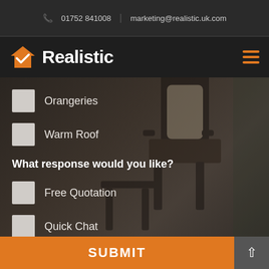📞 01752 841008  |  marketing@realistic.uk.com
[Figure (logo): Realistic logo with orange house checkmark icon and white bold text 'Realistic']
Orangeries
Warm Roof
What response would you like?
Free Quotation
Quick Chat
Brochures
SUBMIT